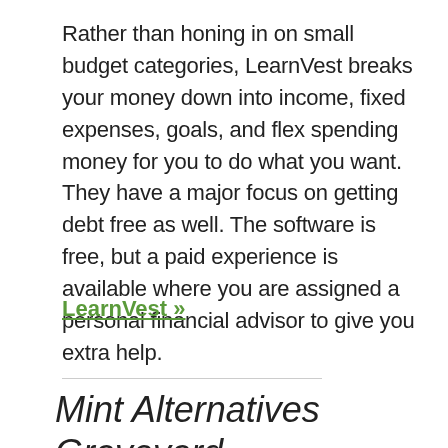Rather than honing in on small budget categories, LearnVest breaks your money down into income, fixed expenses, goals, and flex spending money for you to do what you want. They have a major focus on getting debt free as well. The software is free, but a paid experience is available where you are assigned a personal financial advisor to give you extra help.
LearnVest »
Mint Alternatives Graveyard